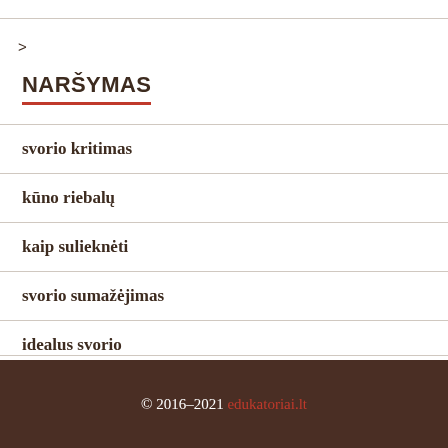>
NARŠYMAS
svorio kritimas
kūno riebalų
kaip sulieknėti
svorio sumažėjimas
idealus svorio
© 2016–2021 edukatoriai.lt